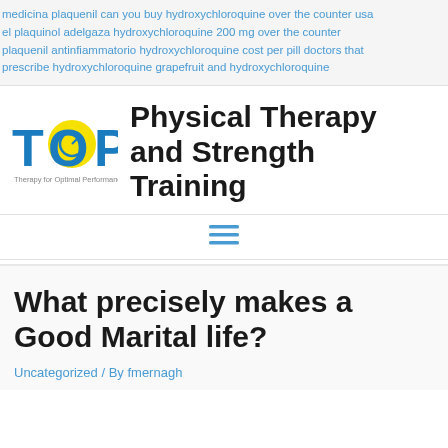medicina plaquenil can you buy hydroxychloroquine over the counter usa el plaquinol adelgaza hydroxychloroquine 200 mg over the counter plaquenil antinfiammatorio hydroxychloroquine cost per pill doctors that prescribe hydroxychloroquine grapefruit and hydroxychloroquine
[Figure (logo): TOP Physical Therapy logo - blue letters T O P with a yellow circle on the O containing a blue arrow, tagline 'Therapy for Optimal Performance']
Physical Therapy and Strength Training
[Figure (other): Hamburger menu icon with three horizontal blue lines]
What precisely makes a Good Marital life?
Uncategorized / By fmernagh